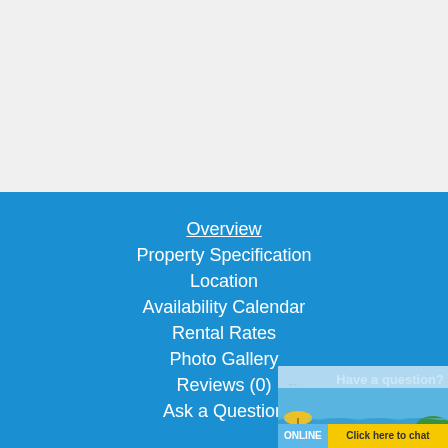[Figure (screenshot): Light gray placeholder area at the top of the page]
Overview
Property Specification
Location
Availability Calendar
Rental Rates
Photo Gallery
Reviews (0)
Ask a Question
[Figure (screenshot): Chat widget overlay in bottom right: 'Have a question?' with beach scene image, ONLINE label and 'Click here to chat' button]